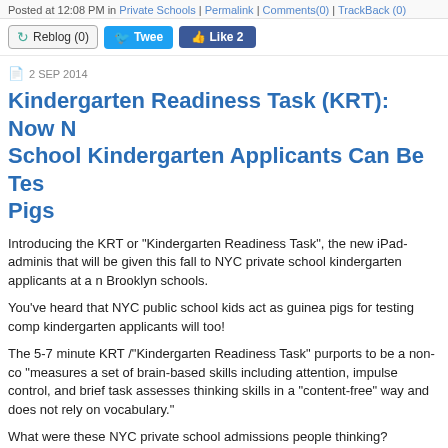Posted at 12:08 PM in Private Schools | Permalink | Comments(0) | TrackBack (0)
[Figure (screenshot): Social sharing buttons: Reblog (0), Tweet, Like 2]
2 SEP 2014
Kindergarten Readiness Task (KRT): Now N School Kindergarten Applicants Can Be Tes Pigs
Introducing the KRT or "Kindergarten Readiness Task", the new iPad-adminis that will be given this fall to NYC private school kindergarten applicants at a n Brooklyn schools.
You've heard that NYC public school kids act as guinea pigs for testing comp kindergarten applicants will too!
The 5-7 minute KRT /"Kindergarten Readiness Task" purports to be a non-co "measures a set of brain-based skills including attention, impulse control, and brief task assesses thinking skills in a “content-free” way and does not rely on vocabulary."
What were these NYC private school admissions people thinking?
"All these preschoolers! How do we separate the wheat from the chaff?"